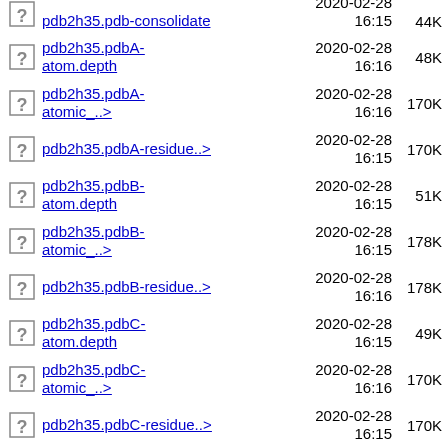pdb2h35.pdb-consolidate  2020-02-28 16:15  44K
pdb2h35.pdbA-atom.depth  2020-02-28 16:16  48K
pdb2h35.pdbA-atomic_..>  2020-02-28 16:16  170K
pdb2h35.pdbA-residue..>  2020-02-28 16:15  170K
pdb2h35.pdbB-atom.depth  2020-02-28 16:15  51K
pdb2h35.pdbB-atomic_..>  2020-02-28 16:15  178K
pdb2h35.pdbB-residue..>  2020-02-28 16:16  178K
pdb2h35.pdbC-atom.depth  2020-02-28 16:15  49K
pdb2h35.pdbC-atomic_..>  2020-02-28 16:16  170K
pdb2h35.pdbC-residue..>  2020-02-28 16:15  170K
pdb2h35.pdbD-atom.depth  2020-02-28 16:15  51K
pdb2h35.pdbD-  2020-02-28  178K (partial)